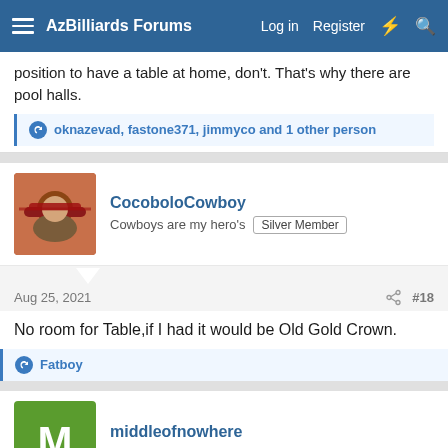AzBilliards Forums  Log in  Register
position to have a table at home, don't. That's why there are pool halls.
oknazevad, fastone371, jimmyco and 1 other person
CocoboloCowboy
Cowboys are my hero's  Silver Member
Aug 25, 2021  #18
No room for Table,if I had it would be Old Gold Crown.
Fatboy
middleofnowhere
Registered
Aug 25, 2021  #19